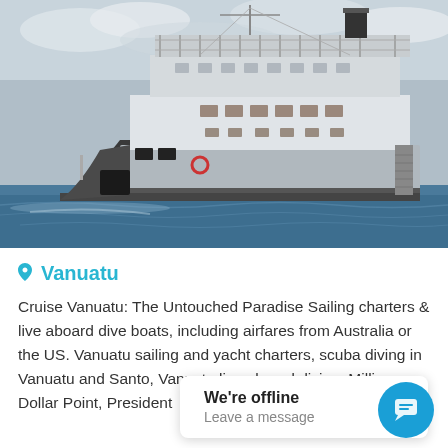[Figure (photo): A large white multi-deck motor yacht or cruise vessel sailing on blue-grey ocean water under a cloudy sky, viewed from a front-side angle.]
Vanuatu
Cruise Vanuatu: The Untouched Paradise Sailing charters & live aboard dive boats, including airfares from Australia or the US. Vanuatu sailing and yacht charters, scuba diving in Vanuatu and Santo, Vanuatu live aboard diving, Million Dollar Point, President
We're offline
Leave a message